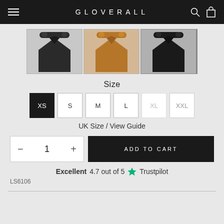GLOVERALL
[Figure (photo): Three coat product thumbnails: dark grey coat, camel/brown coat, black coat]
Size
XS  S  M  L  XL  XXL
UK Size / View Guide
— 1 +   ADD TO CART
Excellent  4.7 out of 5  ★ Trustpilot
LS6106